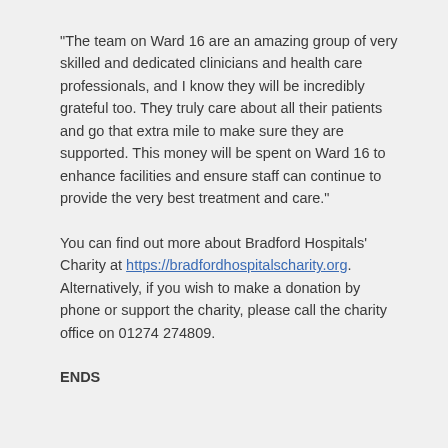“The team on Ward 16 are an amazing group of very skilled and dedicated clinicians and health care professionals, and I know they will be incredibly grateful too. They truly care about all their patients and go that extra mile to make sure they are supported. This money will be spent on Ward 16 to enhance facilities and ensure staff can continue to provide the very best treatment and care.”
You can find out more about Bradford Hospitals’ Charity at https://bradfordhospitalscharity.org. Alternatively, if you wish to make a donation by phone or support the charity, please call the charity office on 01274 274809.
ENDS